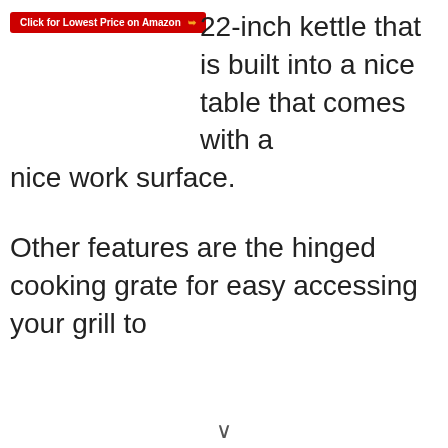[Figure (other): Red button with text 'Click for Lowest Price on Amazon' and orange arrow icon]
22-inch kettle that is built into a nice table that comes with a nice work surface.
Other features are the hinged cooking grate for easy accessing your grill to